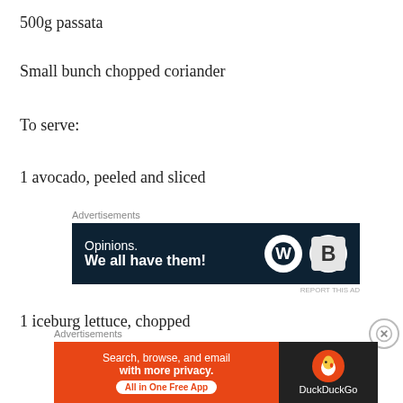500g passata
Small bunch chopped coriander
To serve:
1 avocado, peeled and sliced
[Figure (screenshot): Advertisement banner: WordPress and DuckDuckGo ad reading 'Opinions. We all have them!' on dark navy background]
1 iceburg lettuce, chopped
[Figure (screenshot): Advertisement banner: DuckDuckGo ad reading 'Search, browse, and email with more privacy. All in One Free App']